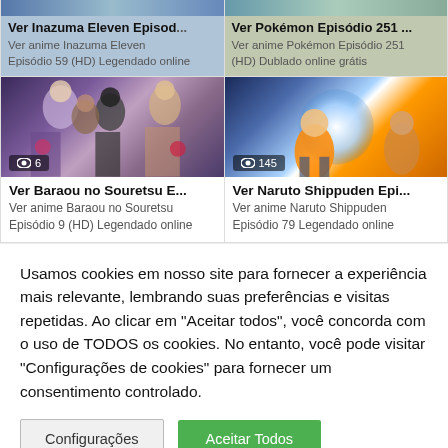[Figure (screenshot): Top row: two anime video cards partially visible at top. Left: Ver Inazuma Eleven Episod... Right: Ver Pokemon Episodio 251...]
Ver anime Inazuma Eleven Episódio 59 (HD) Legendado online
Ver anime Pokémon Episódio 251 (HD) Dublado online grátis
[Figure (screenshot): Baraou no Souretsu anime thumbnail with anime characters, view count badge showing 6]
Ver Baraou no Souretsu E...
Ver anime Baraou no Souretsu Episódio 9 (HD) Legendado online
[Figure (screenshot): Naruto Shippuden anime thumbnail with Naruto character and energy ball, view count badge showing 145]
Ver Naruto Shippuden Epi...
Ver anime Naruto Shippuden Episódio 79 Legendado online
Usamos cookies em nosso site para fornecer a experiência mais relevante, lembrando suas preferências e visitas repetidas. Ao clicar em "Aceitar todos", você concorda com o uso de TODOS os cookies. No entanto, você pode visitar "Configurações de cookies" para fornecer um consentimento controlado.
Configurações
Aceitar Todos